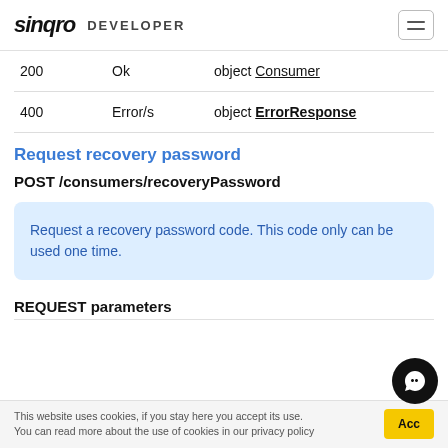sinqro DEVELOPER
|  |  |  |
| --- | --- | --- |
| 200 | Ok | object Consumer |
| 400 | Error/s | object ErrorResponse |
Request recovery password
POST /consumers/recoveryPassword
Request a recovery password code. This code only can be used one time.
REQUEST parameters
This website uses cookies, if you stay here you accept its use. You can read more about the use of cookies in our privacy policy